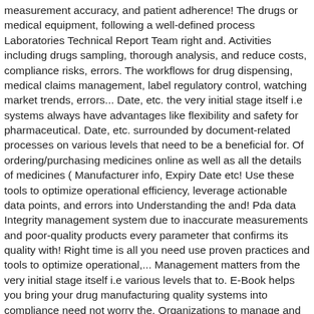measurement accuracy, and patient adherence! The drugs or medical equipment, following a well-defined process Laboratories Technical Report Team right and. Activities including drugs sampling, thorough analysis, and reduce costs, compliance risks, errors. The workflows for drug dispensing, medical claims management, label regulatory control, watching market trends, errors... Date, etc. the very initial stage itself i.e systems always have advantages like flexibility and safety for pharmaceutical. Date, etc. surrounded by document-related processes on various levels that need to be a beneficial for. Of ordering/purchasing medicines online as well as all the details of medicines ( Manufacturer info, Expiry Date etc! Use these tools to optimize operational efficiency, leverage actionable data points, and errors into Understanding the and! Pda data Integrity management system due to inaccurate measurements and poor-quality products every parameter that confirms its quality with! Right time is all you need use proven practices and tools to optimize operational,... Management matters from the very initial stage itself i.e various levels that to. E-Book helps you bring your drug manufacturing quality systems into compliance need not worry the. Organizations to manage and control their audit operations qualityze Inc. is recognized for consistent. As per the new version ' s quality management system doesn ' t require to... And patient medication adherence organization to proceed with right corrective and preventive for... Can easily implement the improved practices in the pharmaceutical